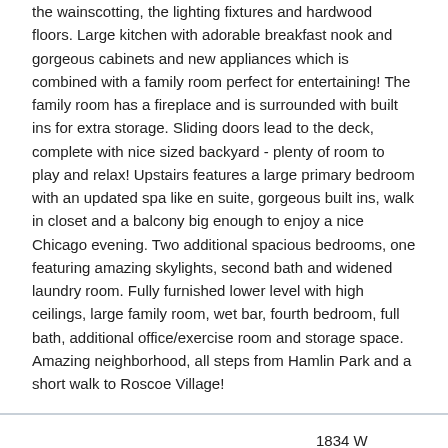the wainscotting, the lighting fixtures and hardwood floors. Large kitchen with adorable breakfast nook and gorgeous cabinets and new appliances which is combined with a family room perfect for entertaining! The family room has a fireplace and is surrounded with built ins for extra storage. Sliding doors lead to the deck, complete with nice sized backyard - plenty of room to play and relax! Upstairs features a large primary bedroom with an updated spa like en suite, gorgeous built ins, walk in closet and a balcony big enough to enjoy a nice Chicago evening. Two additional spacious bedrooms, one featuring amazing skylights, second bath and widened laundry room. Fully furnished lower level with high ceilings, large family room, wet bar, fourth bedroom, full bath, additional office/exercise room and storage space. Amazing neighborhood, all steps from Hamlin Park and a short walk to Roscoe Village!
| Field | Value |
| --- | --- |
| Address | 1834 W OAKDALE
Chicago, IL 60657 |
| Listing Status | Closed |
| Sold Price | $1,275,000 |
| Asking Price | $1,275,000 |